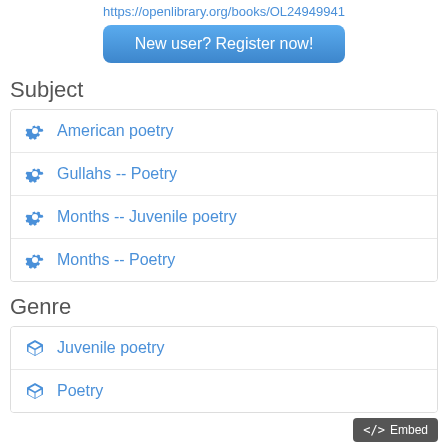https://openlibrary.org/books/OL24949941
New user? Register now!
Subject
American poetry
Gullahs -- Poetry
Months -- Juvenile poetry
Months -- Poetry
Genre
Juvenile poetry
Poetry
</> Embed